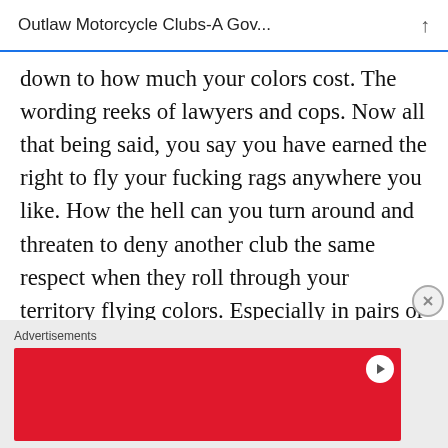Outlaw Motorcycle Clubs-A Gov...
down to how much your colors cost. The wording reeks of lawyers and cops. Now all that being said, you say you have earned the right to fly your fucking rags anywhere you like. How the hell can you turn around and threaten to deny another club the same respect when they roll through your territory flying colors. Especially in pairs or solo when you swarm them with ridiculous odds and force them to
Advertisements
[Figure (other): Red advertisement banner with play button icon in top right corner]